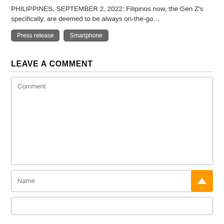PHILIPPINES, SEPTEMBER 2, 2022: Filipinos now, the Gen Z's specifically, are deemed to be always on-the-go…
Press release
Smartphone
LEAVE A COMMENT
Comment (text area placeholder)
Name (input placeholder)
Email (input placeholder)